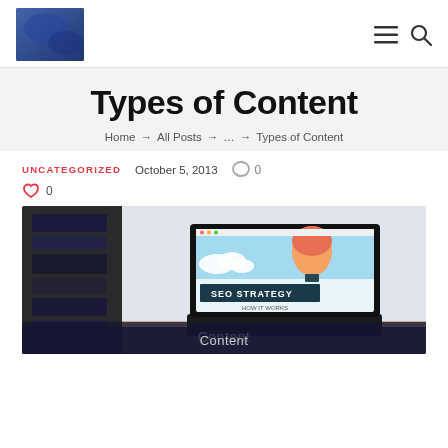[Logo] [Menu icon] [Search icon]
Types of Content
Home → All Posts → … → Types of Content
UNCATEGORIZED   October 5, 2013   💬 0
🔥 0
[Figure (photo): A laptop displaying an 'SEO Strategy – How It Works' presentation with a hot air balloon graphic, placed on a desk with dark shelving/books in the background. Caption bar reads 'Content'.]